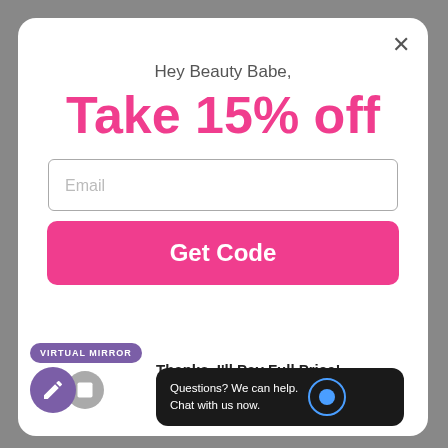×
Hey Beauty Babe,
Take 15% off
Email
Get Code
VIRTUAL MIRROR
Thanks, I'll Pay Full Price!
Questions? We can help. Chat with us now.